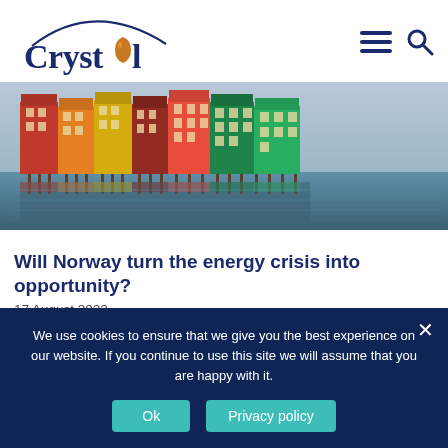Crystol (logo) — navigation menu and search icons
[Figure (photo): Colorful wooden buildings on stilts along a waterfront in Norway (Trondheim), reflected in the water below.]
Will Norway turn the energy crisis into opportunity?
17 August 2022
Norway has the potential to play a bigger role in Europe's gas market if the government can balance economic interests with
We use cookies to ensure that we give you the best experience on our website. If you continue to use this site we will assume that you are happy with it.